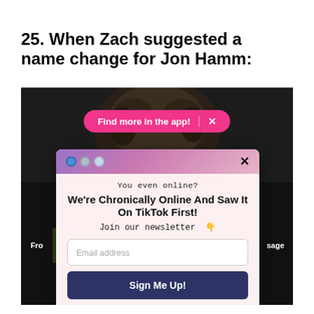25. When Zach suggested a name change for Jon Hamm:
[Figure (screenshot): Screenshot of a social media or web page showing a dark background with a person's head, a pink 'Find more in the app!' banner, and text panels. Overlaid is a modal popup newsletter signup dialog with gradient header, dots, close button, 'You even online?' subtitle, 'We're Chronically Online And Saw It On TikTok First!' title, 'Join our newsletter' text, email input field, 'Sign Me Up!' button, and 'No Thanks' link.]